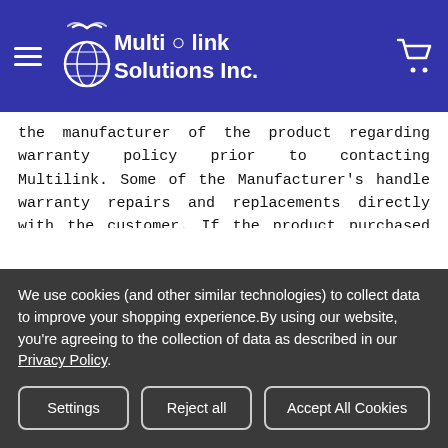Multi O link Solutions Inc.
the manufacturer of the product regarding warranty policy prior to contacting Multilink. Some of the Manufacturer's handle warranty repairs and replacements directly with the customer. If the product purchased is within the Manufacturer's warranty policy Multilink may assist in obtaining the warranty service.
Mikrotik Warranty Terms
Equipment hardware is warranted for 12 months from the
We use cookies (and other similar technologies) to collect data to improve your shopping experience.By using our website, you're agreeing to the collection of data as described in our Privacy Policy.